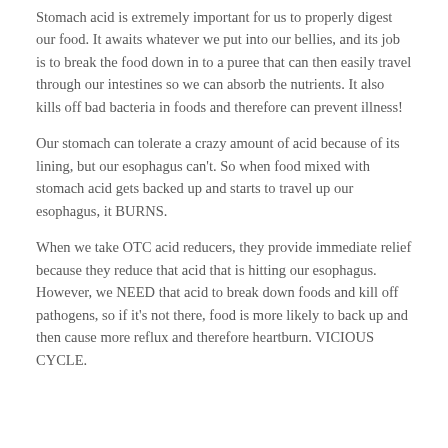Stomach acid is extremely important for us to properly digest our food. It awaits whatever we put into our bellies, and its job is to break the food down in to a puree that can then easily travel through our intestines so we can absorb the nutrients. It also kills off bad bacteria in foods and therefore can prevent illness!
Our stomach can tolerate a crazy amount of acid because of its lining, but our esophagus can't. So when food mixed with stomach acid gets backed up and starts to travel up our esophagus, it BURNS.
When we take OTC acid reducers, they provide immediate relief because they reduce that acid that is hitting our esophagus. However, we NEED that acid to break down foods and kill off pathogens, so if it's not there, food is more likely to back up and then cause more reflux and therefore heartburn. VICIOUS CYCLE.